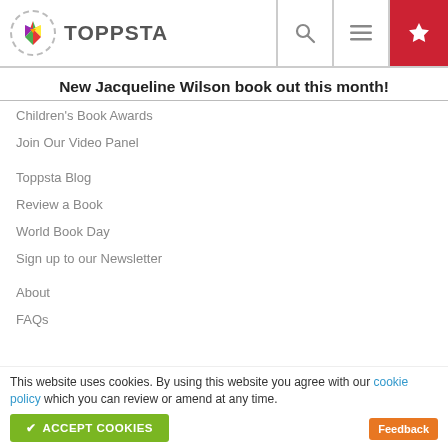TOPPSTA
New Jacqueline Wilson book out this month!
Children's Book Awards
Join Our Video Panel
Toppsta Blog
Review a Book
World Book Day
Sign up to our Newsletter
About
FAQs
This website uses cookies. By using this website you agree with our cookie policy which you can review or amend at any time.
ACCEPT COOKIES